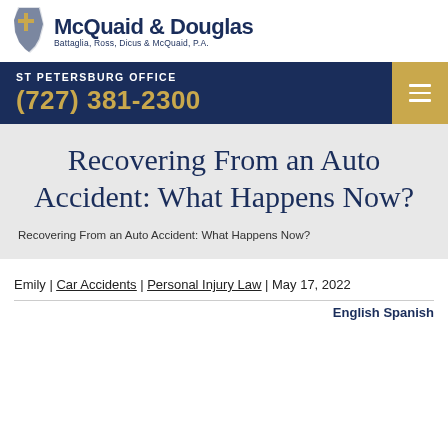[Figure (logo): McQuaid & Douglas law firm logo with cross icon and text 'Battaglia, Ross, Dicus & McQuaid, P.A.']
ST PETERSBURG OFFICE (727) 381-2300
Recovering From an Auto Accident: What Happens Now?
Recovering From an Auto Accident: What Happens Now?
Emily | Car Accidents | Personal Injury Law | May 17, 2022
English Spanish